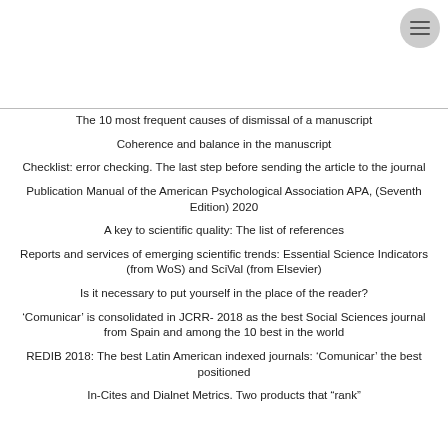The 10 most frequent causes of dismissal of a manuscript
Coherence and balance in the manuscript
Checklist: error checking. The last step before sending the article to the journal
Publication Manual of the American Psychological Association APA, (Seventh Edition) 2020
A key to scientific quality: The list of references
Reports and services of emerging scientific trends: Essential Science Indicators (from WoS) and SciVal (from Elsevier)
Is it necessary to put yourself in the place of the reader?
'Comunicar' is consolidated in JCRR- 2018 as the best Social Sciences journal from Spain and among the 10 best in the world
REDIB 2018: The best Latin American indexed journals: 'Comunicar' the best positioned
In-Cites and Dialnet Metrics. Two products that “rank”